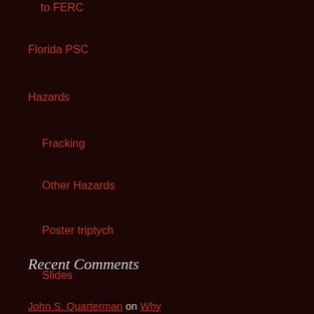to FERC
Florida PSC
Hazards
Fracking
Other Hazards
Poster triptych
Slides
Spectra Safety Violations
LNG Export
Maps
Petition
Recent Comments
John S. Quarterman on Why